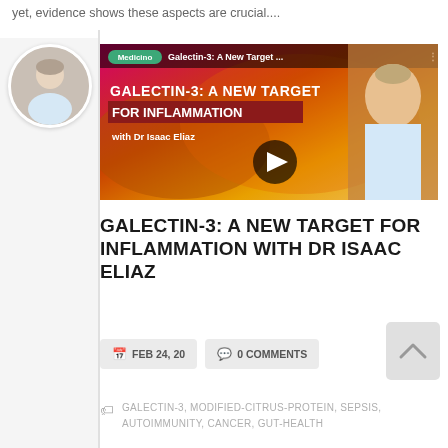yet, evidence shows these aspects are crucial....
[Figure (photo): Circular avatar portrait of Dr Isaac Eliaz, an older male with grey hair]
[Figure (screenshot): YouTube video thumbnail for 'Galectin-3: A New Target for Inflammation with Dr Isaac Eliaz' showing a warm-toned organic background with the video title overlaid, a play button, and a portrait photo of Dr Isaac Eliaz on the right]
GALECTIN-3: A NEW TARGET FOR INFLAMMATION WITH DR ISAAC ELIAZ
FEB 24, 20   0 COMMENTS
[Figure (other): Scroll-to-top button with upward chevron]
GALECTIN-3, MODIFIED-CITRUS-PROTEIN, SEPSIS, AUTOIMMUNITY, CANCER, GUT-HEALTH